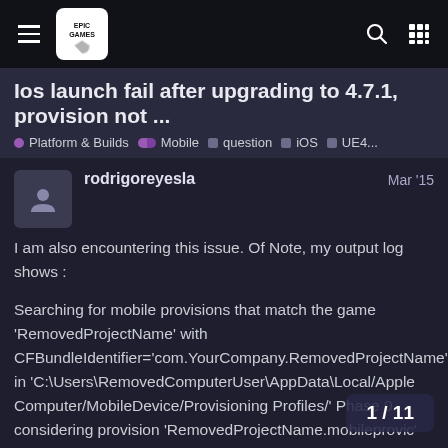Ios launch fail after upgrading to 4.7.1, provision not ...
Platform & Builds  Mobile  question  iOS  UE4...
rodrigoreyesla  Mar '15
I am also encountering this issue. Of Note, my output log shows :

Searching for mobile provisions that match the game 'RemovedProjectName' with CFBundleIdentifier='com.YourCompany.RemovedProjectName' in 'C:\Users\RemovedComputerUser\AppData\Local/Apple Computer/MobileDevice/Provisioning Profiles/'
Phase 0 considering provision 'RemovedProjectName.mobileprovision' with
'RemovedProjectName'
1 / 11